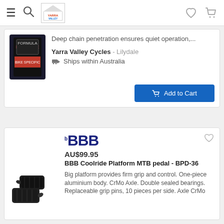Navigation bar with hamburger menu, search, Yarra Valley Cycles logo, heart and cart icons
[Figure (photo): Product image of cycling chain lubricant bottle (Dumonde Tech or similar)]
Deep chain penetration ensures quiet operation,...
Yarra Valley Cycles - Lilydale
Ships within Australia
Add to Cart
[Figure (logo): BBB brand logo in dark navy bold text]
AU$99.95
BBB Coolride Platform MTB pedal - BPD-36
Big platform provides firm grip and control. One-piece aluminium body. CrMo Axle. Double sealed bearings. Replaceable grip pins, 10 pieces per side. Axle CrMo
[Figure (photo): BBB Coolride Platform MTB pedal product image, black pedals]